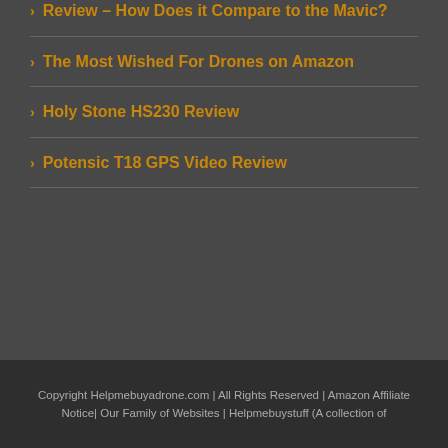Review – How Does it Compare to the Mavic?
The Most Wished For Drones on Amazon
Holy Stone HS230 Review
Potensic T18 GPS Video Review
Copyright Helpmebuyadrone.com | All Rights Reserved | Amazon Affiliate Notice| Our Family of Websites | Helpmebuystuff (A collection of